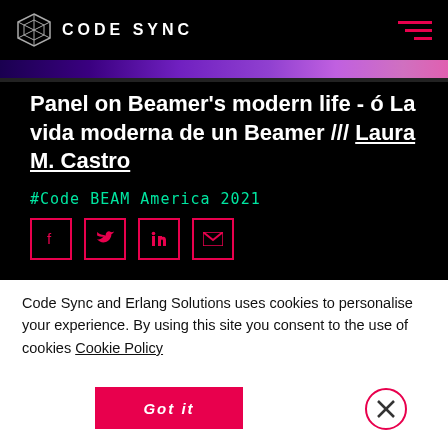CODE SYNC
[Figure (illustration): Colorful banner strip with purple/blue gradient colors]
Panel on Beamer's modern life - ó La vida moderna de un Beamer /// Laura M. Castro
#Code BEAM America 2021
[Figure (infographic): Social sharing icons: Facebook, Twitter, LinkedIn, Email — all with pink/magenta border]
Code Sync and Erlang Solutions uses cookies to personalise your experience. By using this site you consent to the use of cookies Cookie Policy
Got it
[Figure (illustration): Close/dismiss button: X inside a circle with pink border]